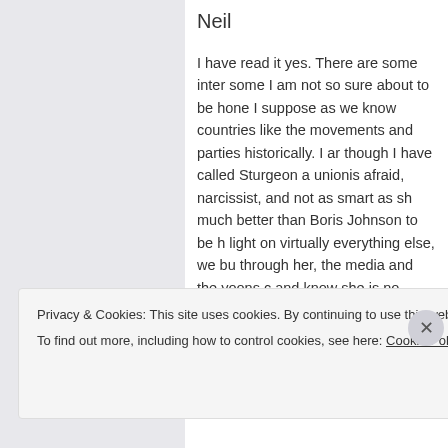Neil
I have read it yes. There are some inter some I am not so sure about to be hone I suppose as we know countries like the movements and parties historically. I ar though I have called Sturgeon a unionis afraid, narcissist, and not as smart as sh much better than Boris Johnson to be h light on virtually everything else, we bu through her, the media and the yoons c and know she is no where near as capab her alone. I think Brexit is blown up too
Privacy & Cookies: This site uses cookies. By continuing to use this website, you agree to their use.
To find out more, including how to control cookies, see here: Cookie Policy